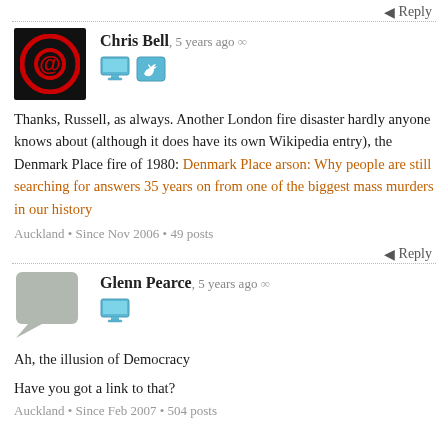↩ Reply
Chris Bell, 5 years ago ∞
Thanks, Russell, as always. Another London fire disaster hardly anyone knows about (although it does have its own Wikipedia entry), the Denmark Place fire of 1980: Denmark Place arson: Why people are still searching for answers 35 years on from one of the biggest mass murders in our history
Auckland • Since Nov 2006 • 49 posts
↩ Reply
Glenn Pearce, 5 years ago ∞
Ah, the illusion of Democracy
Have you got a link to that?
Auckland • Since Feb 2007 • 504 posts